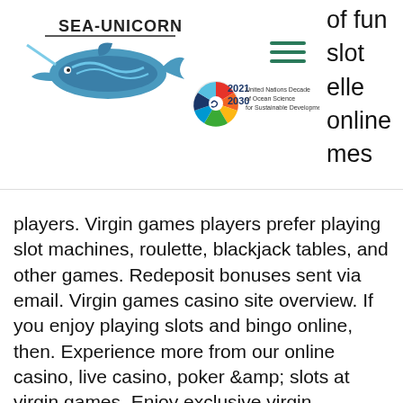[Figure (logo): SEA-UNICORN logo with whale illustration and text SEA-UNICORN]
[Figure (logo): United Nations Decade of Ocean Science for Sustainable Development logo 2021-2030 with colorful wheel emblem]
[Figure (illustration): Hamburger menu icon (three horizontal lines)]
of fun slot elle online mes
players. Virgin games players prefer playing slot machines, roulette, blackjack tables, and other games. Redeposit bonuses sent via email. Virgin games casino site overview. If you enjoy playing slots and bingo online, then. Experience more from our online casino, live casino, poker &amp; slots at virgin games. Enjoy exclusive virgin giveaways &amp; promotions (t&amp;cs apply). How to sign up at virgin casino virgin casino games now virgin gambling. Is virgin online casino legit? introduction to virgin casino; virgin online casino games; slots and jackpots; roulette. As someone who has written a novel that takes place in the days of the 1918 spanish influenza, slot machines with no deposit modern technological